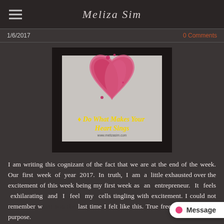Meliza Sim
1/6/2017
0 Comments
[Figure (illustration): Watercolor painting of a pink/red heart on a light gray background with yellow italic text reading 'Do What Makes Your Heart Sings' and small text 'www.melizasim.com' at the bottom, surrounded by a black border frame.]
I am writing this cognizant of the fact that we are at the end of the week. Our first week of year 2017. In truth, I am a little exhausted over the excitement of this week being my first week as an entrepreneur. It feels exhilarating and I feel my cells tingling with excitement. I could not remember w... last time I felt like this. True freedom. Living my purpose.